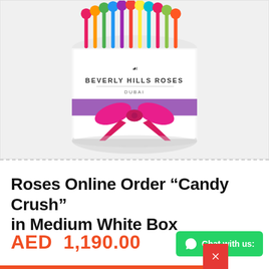[Figure (photo): A white cylindrical box branded 'Beverly Hills Roses Dubai' with colorful flowers inside, wrapped with a purple ribbon and a pink satin bow]
Roses Online Order "Candy Crush" in Medium White Box
AED  1,190.00
Chat with us: